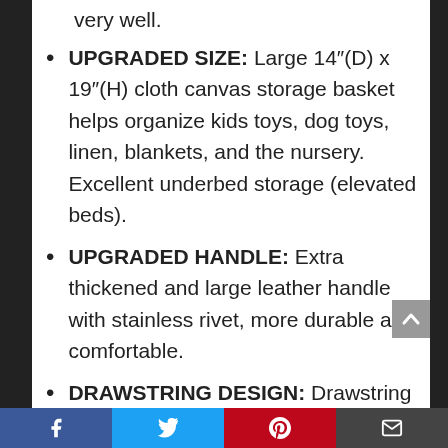very well.
UPGRADED SIZE: Large 14″(D) x 19″(H) cloth canvas storage basket helps organize kids toys, dog toys, linen, blankets, and the nursery. Excellent underbed storage (elevated beds).
UPGRADED HANDLE: Extra thickened and large leather handle with stainless rivet, more durable and comfortable.
DRAWSTRING DESIGN: Drawstring closure with locking to keep dust out.
KEEP CLEAN: Waterproof plastic